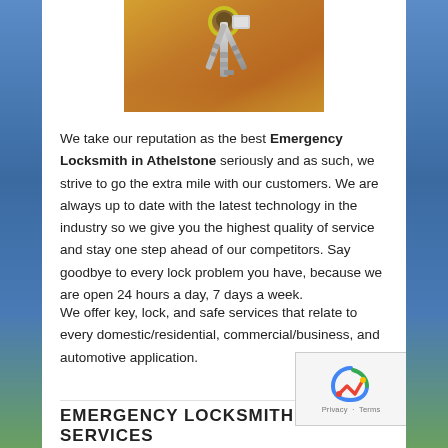[Figure (photo): Photo of a set of keys hanging in a door lock, gold/brass tones]
We take our reputation as the best Emergency Locksmith in Athelstone seriously and as such, we strive to go the extra mile with our customers. We are always up to date with the latest technology in the industry so we give you the highest quality of service and stay one step ahead of our competitors. Say goodbye to every lock problem you have, because we are open 24 hours a day, 7 days a week.
We offer key, lock, and safe services that relate to every domestic/residential, commercial/business, and automotive application.
EMERGENCY LOCKSMITH SERVICES